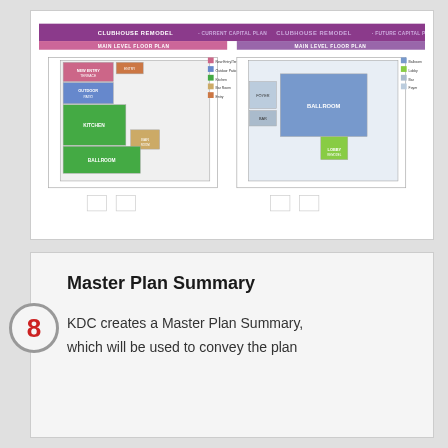[Figure (engineering-diagram): Side-by-side floor plans: Clubhouse Remodel - Current Capital Plan (left) and Clubhouse Remodel - Future Capital Plan (right), both showing Main Level Floor Plan with color-coded rooms.]
8 Master Plan Summary
KDC creates a Master Plan Summary, which will be used to convey the plan